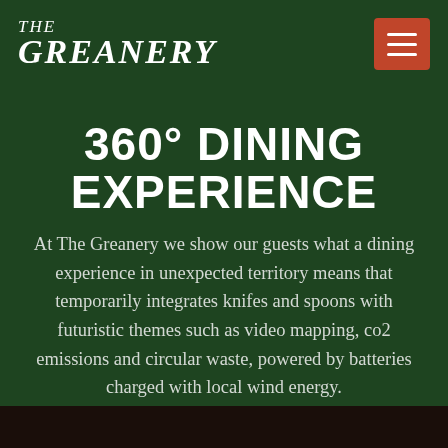[Figure (logo): The Greanery restaurant logo in white serif italic text on dark green background]
360° DINING EXPERIENCE
At The Greanery we show our guests what a dining experience in unexpected territory means that temporarily integrates knifes and spoons with futuristic themes such as video mapping, co2 emissions and circular waste, powered by batteries charged with local wind energy.
[Figure (photo): Dark photo strip at bottom of page showing partial view of dining scene]